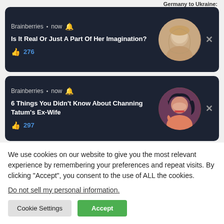Germany to Ukraine:
[Figure (screenshot): Brainberries notification card: 'Is It Real Or Just A Part Of Her Imagination?' with 276 likes and a circular avatar of a woman]
[Figure (screenshot): Brainberries notification card: '6 Things You Didn't Know About Channing Tatum's Ex-Wife' with 297 likes and a circular avatar of a dark-haired woman]
We use cookies on our website to give you the most relevant experience by remembering your preferences and repeat visits. By clicking “Accept”, you consent to the use of ALL the cookies.
Do not sell my personal information.
Cookie Settings
Accept